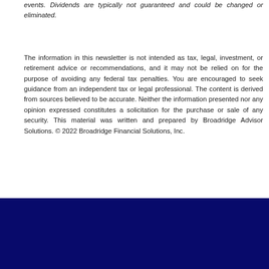events. Dividends are typically not guaranteed and could be changed or eliminated.
The information in this newsletter is not intended as tax, legal, investment, or retirement advice or recommendations, and it may not be relied on for the purpose of avoiding any federal tax penalties. You are encouraged to seek guidance from an independent tax or legal professional. The content is derived from sources believed to be accurate. Neither the information presented nor any opinion expressed constitutes a solicitation for the purchase or sale of any security. This material was written and prepared by Broadridge Advisor Solutions. © 2022 Broadridge Financial Solutions, Inc.